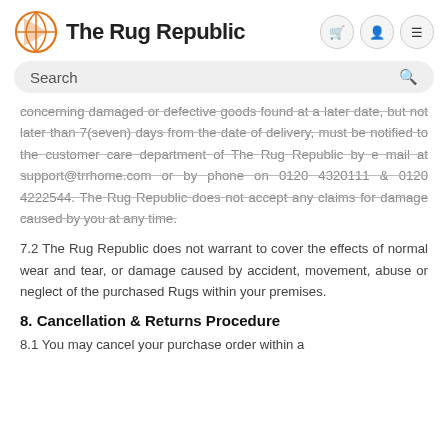The Rug Republic
concerning damaged or defective goods found at a later date, but not later than 7(seven) days from the date of delivery, must be notified to the customer care department of The Rug Republic by e mail at support@trrhome.com or by phone on 0120 4320111 & 0120 4222544. The Rug Republic does not accept any claims for damage caused by you at any time.
7.2 The Rug Republic does not warrant to cover the effects of normal wear and tear, or damage caused by accident, movement, abuse or neglect of the purchased Rugs within your premises.
8. Cancellation & Returns Procedure
8.1 You may cancel your purchase order within a